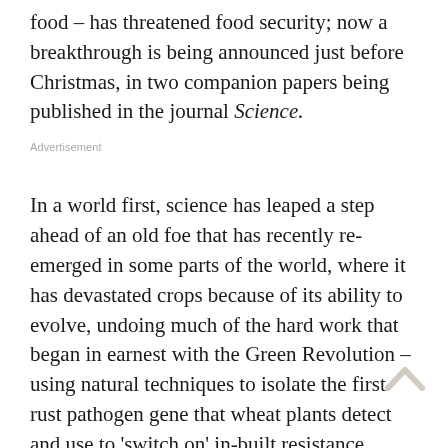food – has threatened food security; now a breakthrough is being announced just before Christmas, in two companion papers being published in the journal Science.
Advertisement
In a world first, science has leaped a step ahead of an old foe that has recently re-emerged in some parts of the world, where it has devastated crops because of its ability to evolve, undoing much of the hard work that began in earnest with the Green Revolution – using natural techniques to isolate the first rust pathogen gene that wheat plants detect and use to 'switch on' in-built resistance.
The breakthrough in research targeting the stem rust foe – historically the most dangerous pathogen of wheat – will mean suspect samples